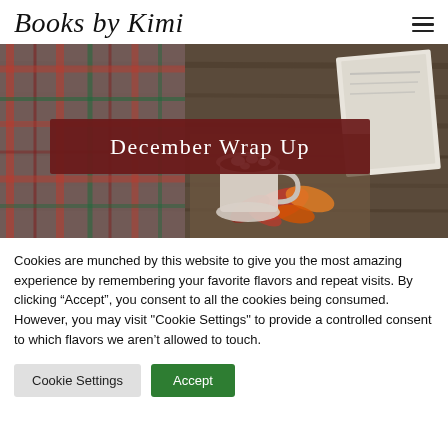Books by Kimi
[Figure (photo): Cozy autumn flat lay photo with plaid scarf, book, mug with hot chocolate and autumn leaves on wooden surface. Overlaid with a dark red banner reading 'December Wrap Up' in white serif text.]
Cookies are munched by this website to give you the most amazing experience by remembering your favorite flavors and repeat visits. By clicking “Accept”, you consent to all the cookies being consumed. However, you may visit "Cookie Settings" to provide a controlled consent to which flavors we aren't allowed to touch.
Cookie Settings | Accept